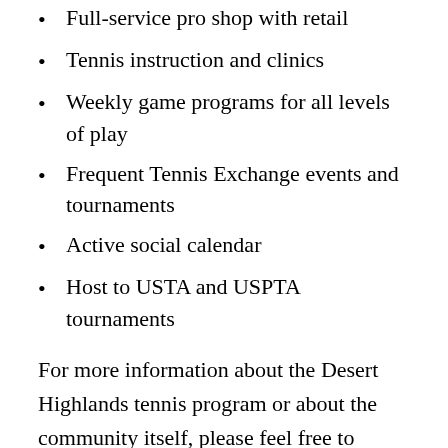Full-service pro shop with retail
Tennis instruction and clinics
Weekly game programs for all levels of play
Frequent Tennis Exchange events and tournaments
Active social calendar
Host to USTA and USPTA tournaments
For more information about the Desert Highlands tennis program or about the community itself, please feel free to contact us